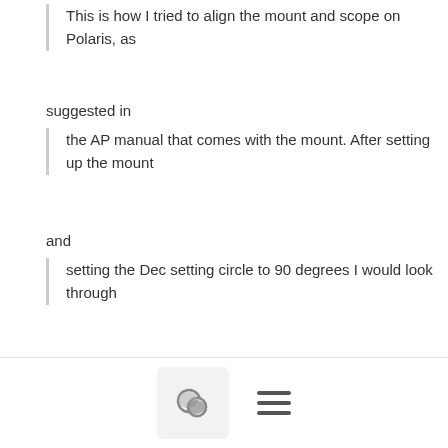This is how I tried to align the mount and scope on Polaris, as
suggested in
the AP manual that comes with the mount. After setting up the mount
and
setting the Dec setting circle to 90 degrees I would look through
the polar
alignment sight hole in the center of the polar axis to align on
Polaris